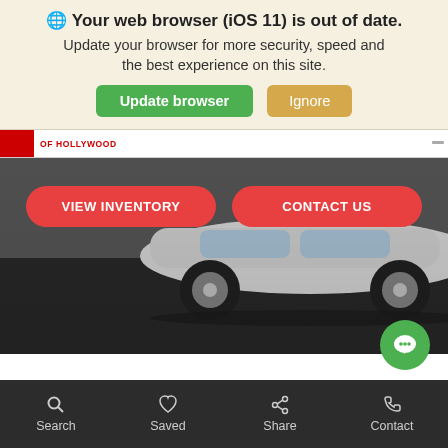🌐 Your web browser (iOS 11) is out of date. Update your browser for more security, speed and the best experience on this site.
Update browser
Ignore
OF HOLLYWOOD
[Figure (screenshot): Car dealership webpage hero section showing a white car in the background with two red pill-shaped buttons labeled VIEW INVENTORY and CONTACT US]
View Disclaimers
Search  Saved  Share  Contact